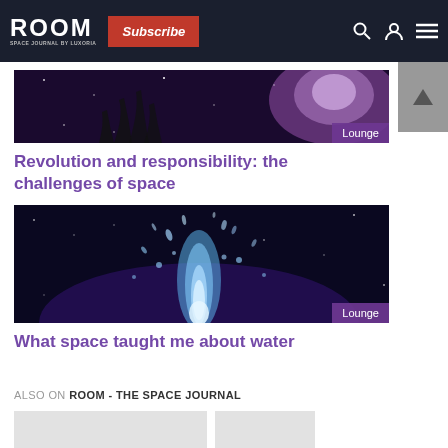ROOM - Subscribe
[Figure (photo): Space/galaxy themed image with hands raised, dark purple and cosmic tones. Lounge badge in bottom right.]
Revolution and responsibility: the challenges of space
[Figure (photo): Water splash erupting upward against a dark blue/space background. Lounge badge in bottom right.]
What space taught me about water
ALSO ON ROOM - THE SPACE JOURNAL
[Figure (photo): Two small preview image cards at the bottom of the page (light grey placeholders).]